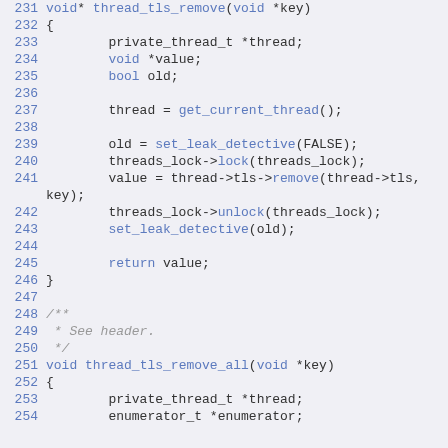Code listing showing thread_tls_remove and thread_tls_remove_all functions, lines 231-254
231 void* thread_tls_remove(void *key)
232 {
233         private_thread_t *thread;
234         void *value;
235         bool old;
236 
237         thread = get_current_thread();
238 
239         old = set_leak_detective(FALSE);
240         threads_lock->lock(threads_lock);
241         value = thread->tls->remove(thread->tls,
key);
242         threads_lock->unlock(threads_lock);
243         set_leak_detective(old);
244 
245         return value;
246 }
247 
248 /**
249  * See header.
250  */
251 void thread_tls_remove_all(void *key)
252 {
253         private_thread_t *thread;
254         enumerator_t *enumerator;